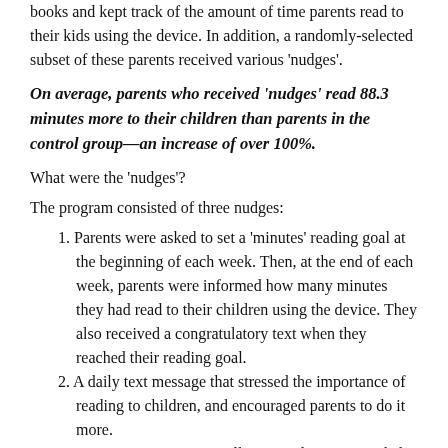books and kept track of the amount of time parents read to their kids using the device. In addition, a randomly-selected subset of these parents received various 'nudges'.
On average, parents who received 'nudges' read 88.3 minutes more to their children than parents in the control group—an increase of over 100%.
What were the 'nudges'?
The program consisted of three nudges:
1. Parents were asked to set a 'minutes' reading goal at the beginning of each week. Then, at the end of each week, parents were informed how many minutes they had read to their children using the device. They also received a congratulatory text when they reached their reading goal.
2. A daily text message that stressed the importance of reading to children, and encouraged parents to do it more.
3. A mass text message to all parents that commended the parent who had read the most in a given week.
The experiment shows that behavioral nudges can increase parental engagement and benefit children. It is important to